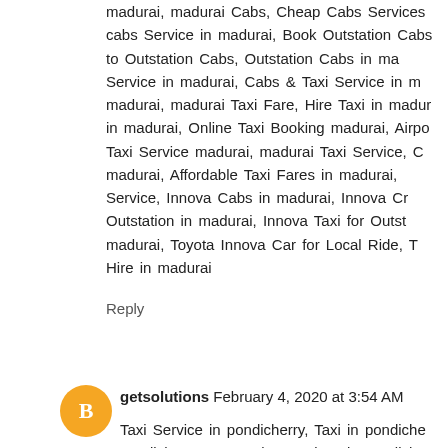madurai, madurai Cabs, Cheap Cabs Services cabs Service in madurai, Book Outstation Cabs to Outstation Cabs, Outstation Cabs in madurai Service in madurai, Cabs & Taxi Service in madurai, madurai Taxi Fare, Hire Taxi in madurai in madurai, Online Taxi Booking madurai, Airport Taxi Service madurai, madurai Taxi Service, C madurai, Affordable Taxi Fares in madurai, Service, Innova Cabs in madurai, Innova Cr Outstation in madurai, Innova Taxi for Outstation madurai, Toyota Innova Car for Local Ride, T Hire in madurai
Reply
getsolutions February 4, 2020 at 3:54 AM
Taxi Service in pondicherry, Taxi in pondicherry pondicherry, A.C. Cabs Services in pondicherry Hire Cabs in pondicherry, pondicherry Cabs, Ch pondicherry, Airport cabs Service in pondicherry